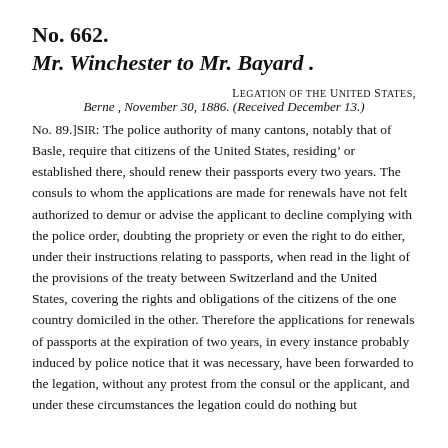No. 662.
Mr. Winchester to Mr. Bayard .
LEGATION OF THE UNITED STATES,
Berne , November 30, 1886. (Received December 13.)
No. 89.]SIR: The police authority of many cantons, notably that of Basle, require that citizens of the United States, residing' or established there, should renew their passports every two years. The consuls to whom the applications are made for renewals have not felt authorized to demur or advise the applicant to decline complying with the police order, doubting the propriety or even the right to do either, under their instructions relating to passports, when read in the light of the provisions of the treaty between Switzerland and the United States, covering the rights and obligations of the citizens of the one country domiciled in the other. Therefore the applications for renewals of passports at the expiration of two years, in every instance probably induced by police notice that it was necessary, have been forwarded to the legation, without any protest from the consul or the applicant, and under these circumstances the legation could do nothing but